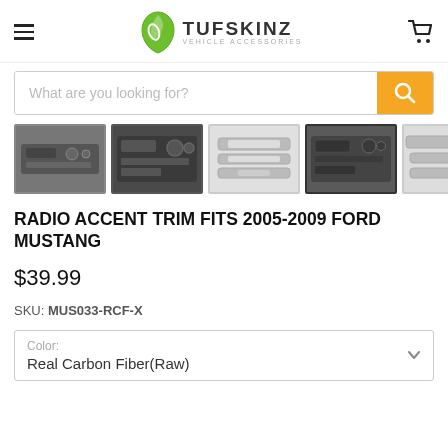TUFSKINZ - Vehicle Accessories
[Figure (screenshot): Search bar with placeholder text 'What are you looking for?' and orange search button]
[Figure (photo): Thumbnail strip showing 5 product images of radio accent trim for Ford Mustang, 4th image is selected/highlighted]
RADIO ACCENT TRIM FITS 2005-2009 FORD MUSTANG
$39.99
SKU: MUS033-RCF-X
Color: Real Carbon Fiber(Raw)